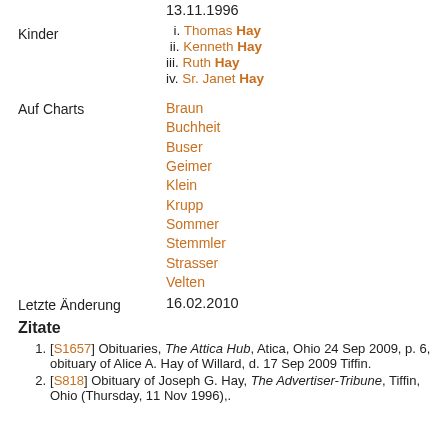13.11.1996
i. Thomas Hay
ii. Kenneth Hay
iii. Ruth Hay
iv. Sr. Janet Hay
Auf Charts: Braun, Buchheit, Buser, Geimer, Klein, Krupp, Sommer, Stemmler, Strasser, Velten
Letzte Änderung: 16.02.2010
Zitate
[S1657] Obituaries, The Attica Hub, Atica, Ohio 24 Sep 2009, p. 6, obituary of Alice A. Hay of Willard, d. 17 Sep 2009 Tiffin.
[S818] Obituary of Joseph G. Hay, The Advertiser-Tribune, Tiffin, Ohio (Thursday, 11 Nov 1996),.